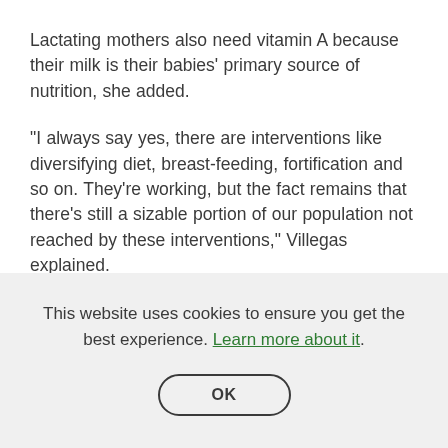Lactating mothers also need vitamin A because their milk is their babies' primary source of nutrition, she added.
“I always say yes, there are interventions like diversifying diet, breast-feeding, fortification and so on. They’re working, but the fact remains that there’s still a sizable portion of our population not reached by these interventions,” Villegas explained.
Villegas explained that there remain sectors of society that are not reached by the current interventions, those who live
This website uses cookies to ensure you get the best experience. Learn more about it.